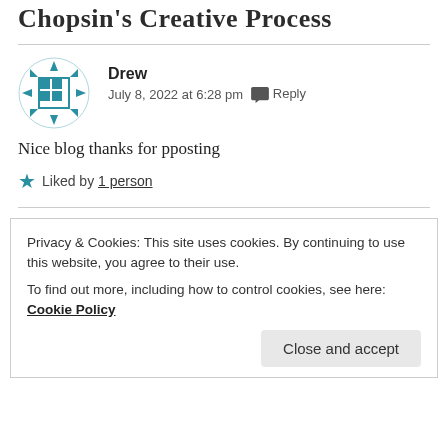Chopsin's Creative Process
Drew
July 8, 2022 at 6:28 pm  Reply
Nice blog thanks for pposting
★ Liked by 1 person
Privacy & Cookies: This site uses cookies. By continuing to use this website, you agree to their use.
To find out more, including how to control cookies, see here: Cookie Policy
Close and accept